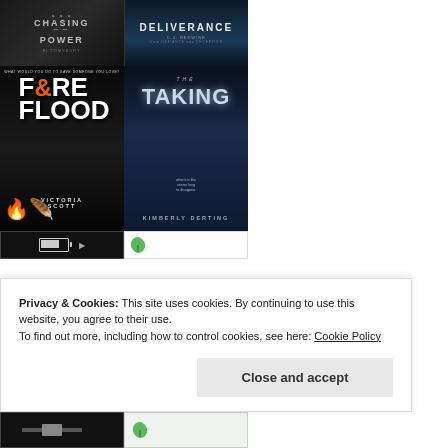[Figure (photo): Book cover: 'Chasing Power' - dark background with stylized text]
[Figure (photo): Book cover: 'Deliverance' by C.J. Redwine - dark blue background]
[Figure (photo): Book cover: 'Fire & Flood' by Victoria Scott - dark with fire and feather imagery]
[Figure (photo): Book cover: 'The Taking' by Kimberly Derting - dark blue night scene]
[Figure (photo): Image with battery icon graphic]
[Figure (photo): Small leaf/green icon image]
Privacy & Cookies: This site uses cookies. By continuing to use this website, you agree to their use.
To find out more, including how to control cookies, see here: Cookie Policy
Close and accept